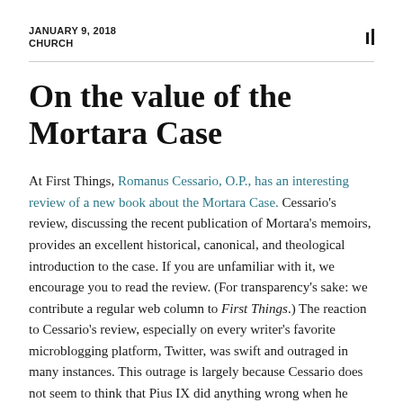JANUARY 9, 2018
CHURCH
On the value of the Mortara Case
At First Things, Romanus Cessario, O.P., has an interesting review of a new book about the Mortara Case. Cessario's review, discussing the recent publication of Mortara's memoirs, provides an excellent historical, canonical, and theological introduction to the case. If you are unfamiliar with it, we encourage you to read the review. (For transparency's sake: we contribute a regular web column to First Things.) The reaction to Cessario's review, especially on every writer's favorite microblogging platform, Twitter, was swift and outraged in many instances. This outrage is largely because Cessario does not seem to think that Pius IX did anything wrong when he removed little Edgardo Mortara from his parents' home following his baptism by a servant girl. The